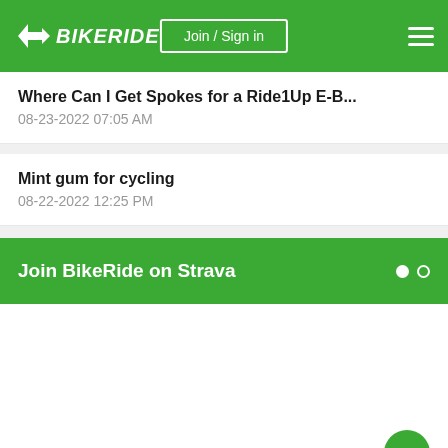BIKERIDE — Join / Sign in
Where Can I Get Spokes for a Ride1Up E-B...
08-23-2022 07:05 AM
Mint gum for cycling
08-22-2022 12:25 PM
Join BikeRide on Strava